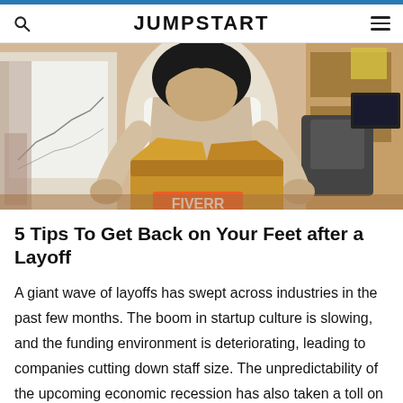JUMPSTART
[Figure (photo): A person carrying a cardboard box with a Fiverr logo in an office setting, suggesting a layoff scenario. Bookshelves, an office chair, and a whiteboard are visible in the background.]
5 Tips To Get Back on Your Feet after a Layoff
A giant wave of layoffs has swept across industries in the past few months. The boom in startup culture is slowing, and the funding environment is deteriorating, leading to companies cutting down staff size. The unpredictability of the upcoming economic recession has also taken a toll on